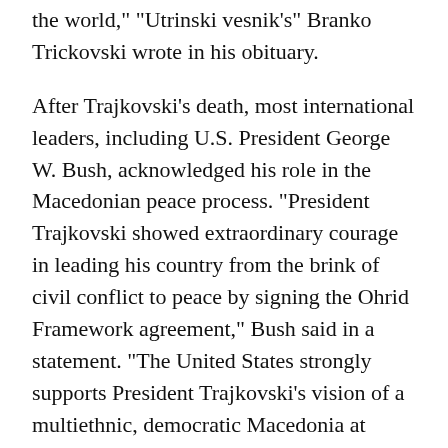the world," "Utrinski vesnik's" Branko Trickovski wrote in his obituary.
After Trajkovski's death, most international leaders, including U.S. President George W. Bush, acknowledged his role in the Macedonian peace process. "President Trajkovski showed extraordinary courage in leading his country from the brink of civil conflict to peace by signing the Ohrid Framework agreement," Bush said in a statement. "The United States strongly supports President Trajkovski's vision of a multiethnic, democratic Macedonia at peace with itself and its neighbors and on the path to full membership in the trans-Atlantic community," Bush added.
The 2001 conflict thus left Trajkovski in a paradoxical position. Widely acclaimed for his peace